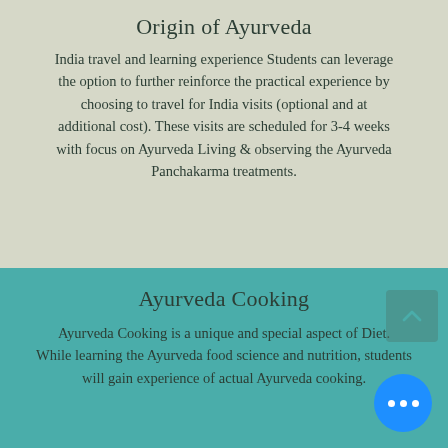Origin of Ayurveda
India travel and learning experience Students can leverage the option to further reinforce the practical experience by choosing to travel for India visits (optional and at additional cost). These visits are scheduled for 3-4 weeks with focus on Ayurveda Living & observing the Ayurveda Panchakarma treatments.
Ayurveda Cooking
Ayurveda Cooking is a unique and special aspect of Diet. While learning the Ayurveda food science and nutrition, students will gain experience of actual Ayurveda cooking.